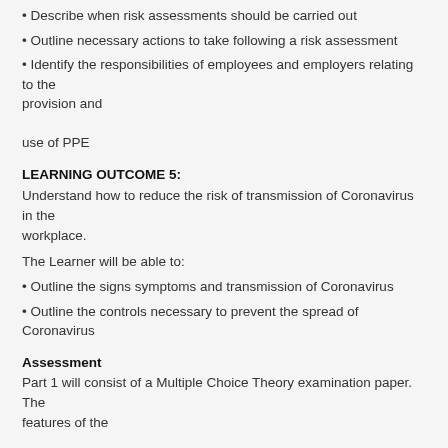• Describe when risk assessments should be carried out
• Outline necessary actions to take following a risk assessment
• Identify the responsibilities of employees and employers relating to the provision and use of PPE
LEARNING OUTCOME 5:
Understand how to reduce the risk of transmission of Coronavirus in the workplace.
The Learner will be able to:
• Outline the signs symptoms and transmission of Coronavirus
• Outline the controls necessary to prevent the spread of Coronavirus
Assessment
Part 1 will consist of a Multiple Choice Theory examination paper. The features of the MCQ test are: The formats of MCQs will be determined by the domain of learning